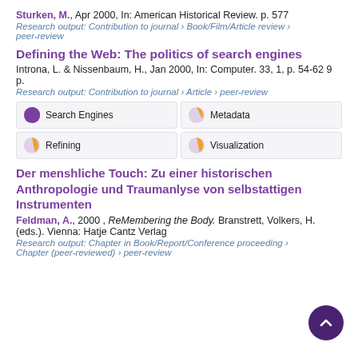Sturken, M., Apr 2000, In: American Historical Review. p. 577
Research output: Contribution to journal › Book/Film/Article review › peer-review
Defining the Web: The politics of search engines
Introna, L. & Nissenbaum, H., Jan 2000, In: Computer. 33, 1, p. 54-62 9 p.
Research output: Contribution to journal › Article › peer-review
[Figure (infographic): Four keyword badges in a 2x2 grid: Search Engines (100%), Metadata (~35%), Refining (~25%), Visualization (~25%)]
Der menshliche Touch: Zu einer historischen Anthropologie und Traumanlyse von selbstattigen Instrumenten
Feldman, A., 2000, ReMembering the Body. Branstrett, Volkers, H. (eds.). Vienna: Hatje Cantz Verlag
Research output: Chapter in Book/Report/Conference proceeding › Chapter (peer-reviewed) › peer-review